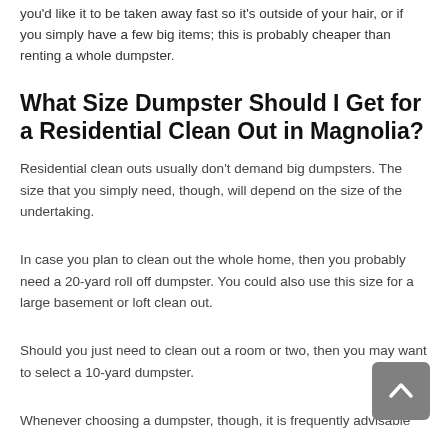you'd like it to be taken away fast so it's outside of your hair, or if you simply have a few big items; this is probably cheaper than renting a whole dumpster.
What Size Dumpster Should I Get for a Residential Clean Out in Magnolia?
Residential clean outs usually don't demand big dumpsters. The size that you simply need, though, will depend on the size of the undertaking.
In case you plan to clean out the whole home, then you probably need a 20-yard roll off dumpster. You could also use this size for a large basement or loft clean out.
Should you just need to clean out a room or two, then you may want to select a 10-yard dumpster.
Whenever choosing a dumpster, though, it is frequently advisable